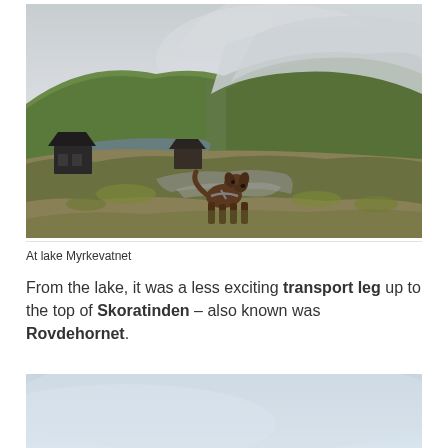[Figure (photo): A brown dog standing on rocky terrain with green grass and moss, mountain lake and small dark wooden huts visible in the background, misty hilltops shrouded in fog and clouds.]
At lake Myrkevatnet
From the lake, it was a less exciting transport leg up to the top of Skoratinden – also known was Rovdehornet.
[Figure (photo): Partial view of a misty sky scene, light blue-grey tones, top portion of a second landscape photo cropped at page bottom.]